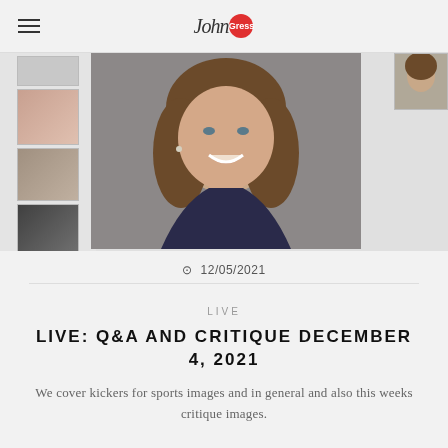John Gress
[Figure (photo): Portrait of a smiling woman with brown hair, wearing a dark navy sleeveless top, against a gray background. Thumbnail strip on left side showing smaller portrait photos, and a partial thumbnail on the right.]
12/05/2021
LIVE
LIVE: Q&A AND CRITIQUE DECEMBER 4, 2021
We cover kickers for sports images and in general and also this weeks critique images.